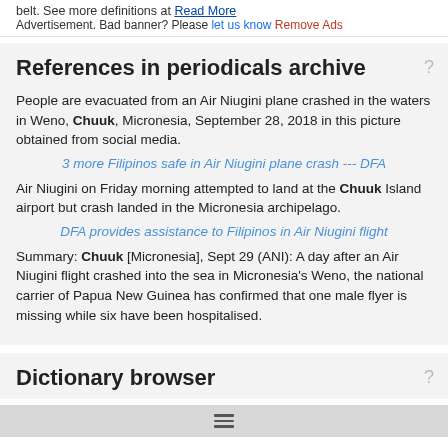belt. See more definitions at Read More
Advertisement. Bad banner? Please let us know Remove Ads
References in periodicals archive
People are evacuated from an Air Niugini plane crashed in the waters in Weno, Chuuk, Micronesia, September 28, 2018 in this picture obtained from social media.
3 more Filipinos safe in Air Niugini plane crash --- DFA
Air Niugini on Friday morning attempted to land at the Chuuk Island airport but crash landed in the Micronesia archipelago.
DFA provides assistance to Filipinos in Air Niugini flight
Summary: Chuuk [Micronesia], Sept 29 (ANI): A day after an Air Niugini flight crashed into the sea in Micronesia's Weno, the national carrier of Papua New Guinea has confirmed that one male flyer is missing while six have been hospitalised.
Dictionary browser